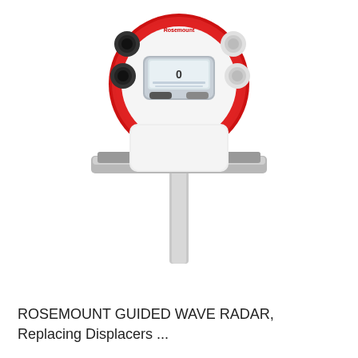[Figure (photo): Rosemount guided wave radar transmitter device — a white and red industrial sensor with a circular red housing containing an LCD display showing '0', two black cable glands on top left, two white cable glands on top right, and a vertical stainless steel probe extending downward from the bottom center. Two grey bracket tabs visible on each side of the probe stem.]
ROSEMOUNT GUIDED WAVE RADAR, Replacing Displacers ...